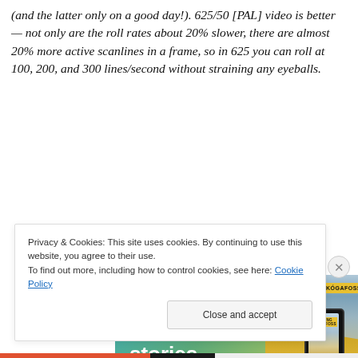(and the latter only on a good day!). 625/50 [PAL] video is better — not only are the roll rates about 20% slower, there are almost 20% more active scanlines in a frame, so in 625 you can roll at 100, 200, and 300 lines/second without straining any eyeballs.
[Figure (photo): Advertisement banner showing 'Create immersive stories.' text on a blue-green gradient background with a phone showing a waterfall photo labeled 'VISITING SKÓGAFOSS' and a person in a yellow jacket]
Privacy & Cookies: This site uses cookies. By continuing to use this website, you agree to their use.
To find out more, including how to control cookies, see here: Cookie Policy